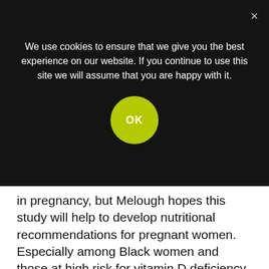We use cookies to ensure that we give you the best experience on our website. If you continue to use this site we will assume that you are happy with it.
in pregnancy, but Melough hopes this study will help to develop nutritional recommendations for pregnant women. Especially among Black women and those at high risk for vitamin D deficiency, nutritional supplementation and screening may be an impactful strategy for reducing health disparities.
Key takeaways
Melough says there are three key